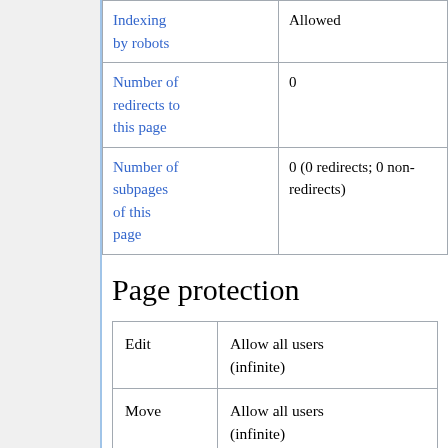| Property | Value |
| --- | --- |
| Indexing by robots | Allowed |
| Number of redirects to this page | 0 |
| Number of subpages of this page | 0 (0 redirects; 0 non-redirects) |
Page protection
| Action | Permission |
| --- | --- |
| Edit | Allow all users (infinite) |
| Move | Allow all users (infinite) |